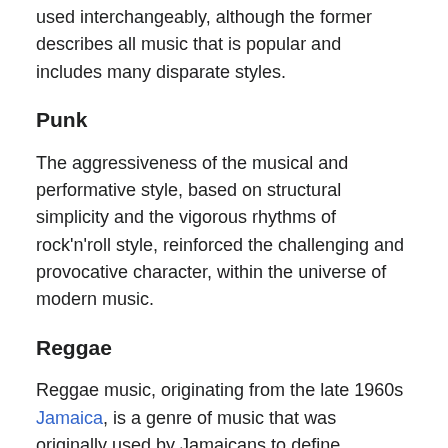used interchangeably, although the former describes all music that is popular and includes many disparate styles.
Punk
The aggressiveness of the musical and performative style, based on structural simplicity and the vigorous rhythms of rock'n'roll style, reinforced the challenging and provocative character, within the universe of modern music.
Reggae
Reggae music, originating from the late 1960s Jamaica, is a genre of music that was originally used by Jamaicans to define themselves with their lifestyle and social aspects.[29] The meaning behind reggae songs tend to be about love, faith or a higher power, and freedom.[30] Reggae music is important to Jamaican culture as it has been used as inspiration for many third world liberation movements. Bob Marley, an artist primarily known for reggae music, was honored by Zimbabwe's 1980 Independence celebration due to his music giving